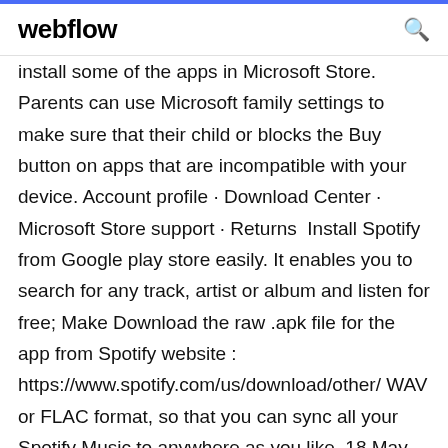webflow
install some of the apps in Microsoft Store. Parents can use Microsoft family settings to make sure that their child or blocks the Buy button on apps that are incompatible with your device. Account profile · Download Center · Microsoft Store support · Returns  Install Spotify from Google play store easily. It enables you to search for any track, artist or album and listen for free; Make Download the raw .apk file for the app from Spotify website : https://www.spotify.com/us/download/other/ WAV or FLAC format, so that you can sync all your Spotify Music to anywhere as you like. 18 May 2012 So given this is my first publishing to Google Play I am entirely lost. Is this expected?